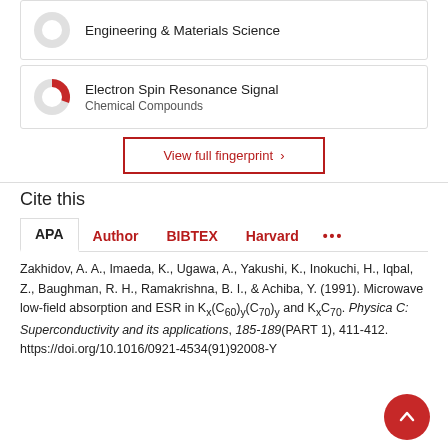[Figure (donut-chart): Partial donut chart icon for Engineering & Materials Science fingerprint item]
Engineering & Materials Science
[Figure (donut-chart): Partial donut chart icon (red segment) for Electron Spin Resonance Signal fingerprint item]
Electron Spin Resonance Signal
Chemical Compounds
View full fingerprint >
Cite this
APA   Author   BIBTEX   Harvard   ...
Zakhidov, A. A., Imaeda, K., Ugawa, A., Yakushi, K., Inokuchi, H., Iqbal, Z., Baughman, R. H., Ramakrishna, B. I., & Achiba, Y. (1991). Microwave low-field absorption and ESR in Kx(C60)y(C70)y and KxC70. Physica C: Superconductivity and its applications, 185-189(PART 1), 411-412. https://doi.org/10.1016/0921-4534(91)92008-Y